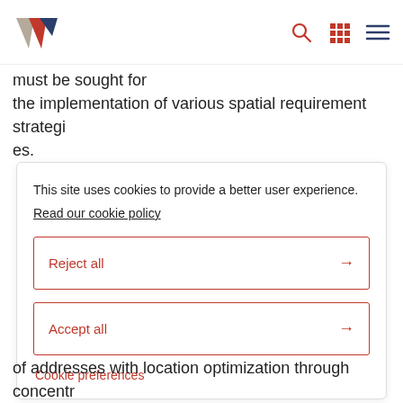[Logo: W] [search icon] [grid icon] [menu icon]
must be sought for the implementation of various spatial requirement strategies.
This site uses cookies to provide a better user experience. Read our cookie policy
Reject all →
Accept all →
Cookie preferences
of addresses with location optimization through concentr